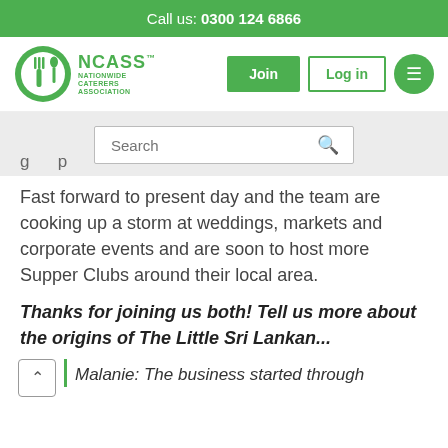Call us: 0300 124 6866
[Figure (logo): NCASS Nationwide Caterers Association logo with green fork and spoon icon]
Fast forward to present day and the team are cooking up a storm at weddings, markets and corporate events and are soon to host more Supper Clubs around their local area.
Thanks for joining us both! Tell us more about the origins of The Little Sri Lankan...
Malanie: The business started through